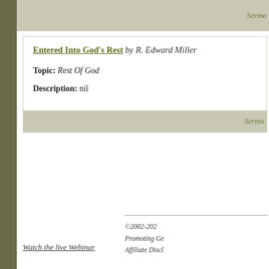Sermo
Entered Into God's Rest by R. Edward Miller
Topic: Rest Of God
Description: nil
Sermo
©2002-202
Promoting Ge
Affiliate Discl
Watch the live Webinar